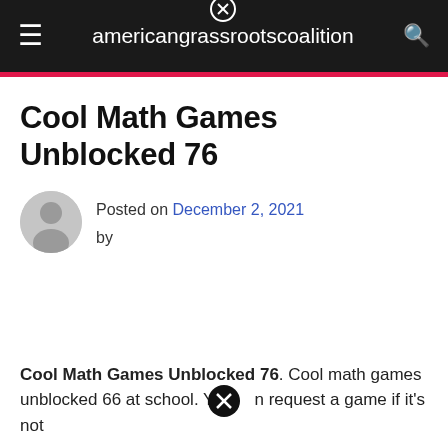americangrassrootscoalition
Cool Math Games Unblocked 76
Posted on December 2, 2021 by
Cool Math Games Unblocked 76. Cool math games unblocked 66 at school. You can request a game if it's not